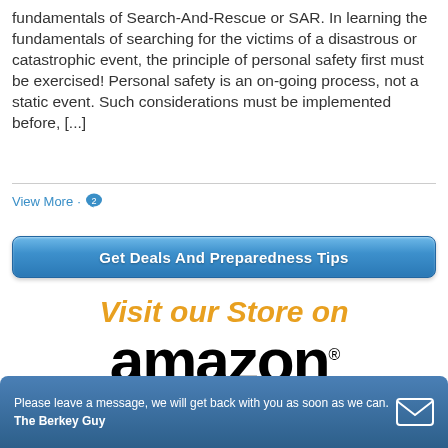fundamentals of Search-And-Rescue or SAR. In learning the fundamentals of searching for the victims of a disastrous or catastrophic event, the principle of personal safety first must be exercised! Personal safety is an on-going process, not a static event. Such considerations must be implemented before, [...]
View More · 2
Get Deals And Preparedness Tips
[Figure (illustration): Visit our Store on Amazon banner with orange italic text 'Visit our Store on' and large black Amazon wordmark with trademark symbol and orange arrow beneath]
Please leave a message, we will get back with you as soon as we can. The Berkey Guy